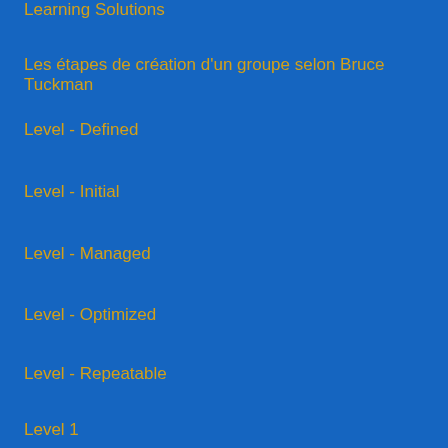Learning Solutions
Les étapes de création d'un groupe selon Bruce Tuckman
Level - Defined
Level - Initial
Level - Managed
Level - Optimized
Level - Repeatable
Level 1
Level 2
Level 3